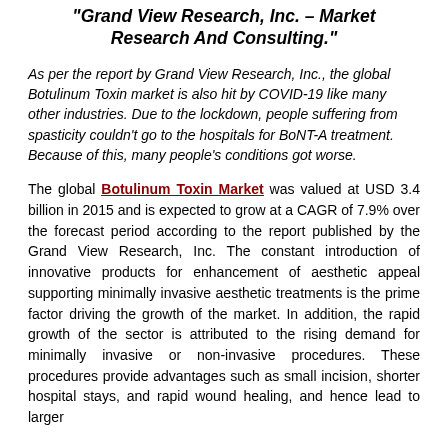"Grand View Research, Inc. – Market Research And Consulting."
As per the report by Grand View Research, Inc., the global Botulinum Toxin market is also hit by COVID-19 like many other industries. Due to the lockdown, people suffering from spasticity couldn't go to the hospitals for BoNT-A treatment. Because of this, many people's conditions got worse.
The global Botulinum Toxin Market was valued at USD 3.4 billion in 2015 and is expected to grow at a CAGR of 7.9% over the forecast period according to the report published by the Grand View Research, Inc. The constant introduction of innovative products for enhancement of aesthetic appeal supporting minimally invasive aesthetic treatments is the prime factor driving the growth of the market. In addition, the rapid growth of the sector is attributed to the rising demand for minimally invasive or non-invasive procedures. These procedures provide advantages such as small incision, shorter hospital stays, and rapid wound healing and hence lead to larger